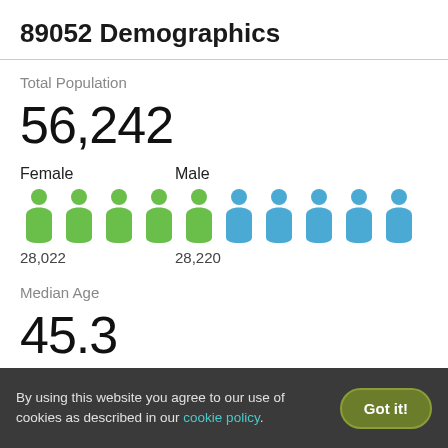89052 Demographics
Total Population
56,242
[Figure (infographic): Pictogram of 10 person icons, 5 green (female) and 5 blue (male), representing gender split of population. Female: 28,022, Male: 28,220.]
Median Age
45.3
By using this website you agree to our use of cookies as described in our cookie policy.